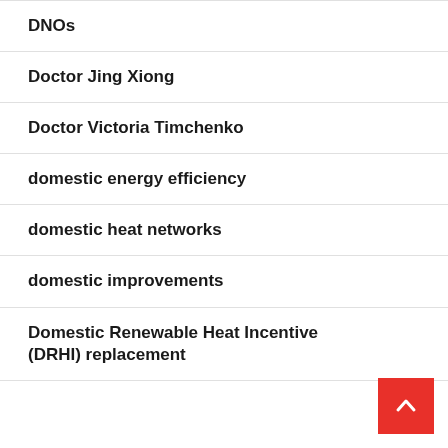DNOs
Doctor Jing Xiong
Doctor Victoria Timchenko
domestic energy efficiency
domestic heat networks
domestic improvements
Domestic Renewable Heat Incentive (DRHI) replacement